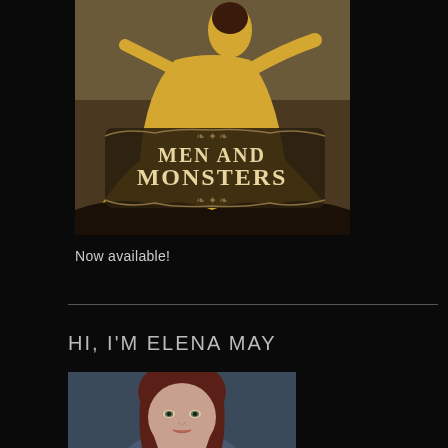[Figure (illustration): Book cover for 'Men and Monsters' featuring a woman in a yellow gown with decorative scroll-work title treatment on a dark background]
Now available!
HI, I'M ELENA MAY
[Figure (photo): Headshot portrait of a woman with dark reddish-brown hair against a dark blue-grey background]